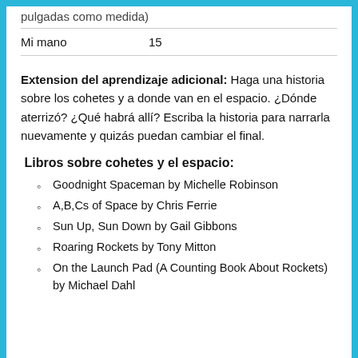pulgadas como medida)
| Mi mano | 15 |
Extension del aprendizaje adicional: Haga una historia sobre los cohetes y a donde van en el espacio. ¿Dónde aterrizó? ¿Qué habrá allí? Escriba la historia para narrarla nuevamente y quizás puedan cambiar el final.
Libros sobre cohetes y el espacio:
Goodnight Spaceman by Michelle Robinson
A,B,Cs of Space by Chris Ferrie
Sun Up, Sun Down by Gail Gibbons
Roaring Rockets by Tony Mitton
On the Launch Pad (A Counting Book About Rockets) by Michael Dahl